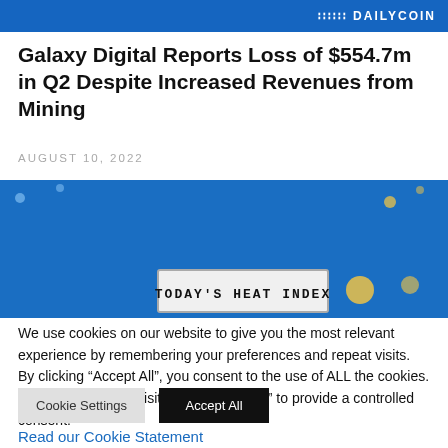DAILYCOIN
Galaxy Digital Reports Loss of $554.7m in Q2 Despite Increased Revenues from Mining
AUGUST 10, 2022
[Figure (photo): Blue background image with a sign reading TODAY'S HEAT INDEX at the bottom center]
We use cookies on our website to give you the most relevant experience by remembering your preferences and repeat visits. By clicking “Accept All”, you consent to the use of ALL the cookies. However, you may visit "Cookie Settings" to provide a controlled consent.
Cookie Settings   Accept All
Read our Cookie Statement